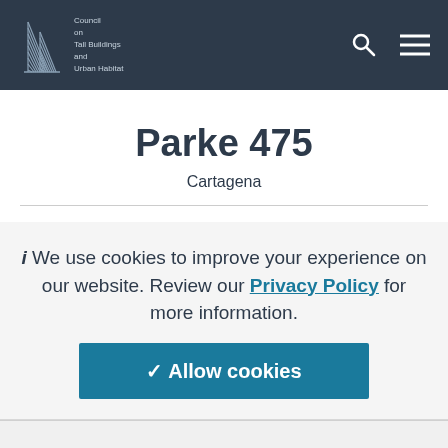[Figure (logo): Council on Tall Buildings and Urban Habitat logo with building graphic and text]
Parke 475
Cartagena
We use cookies to improve your experience on our website. Review our Privacy Policy for more information.
✓ Allow cookies